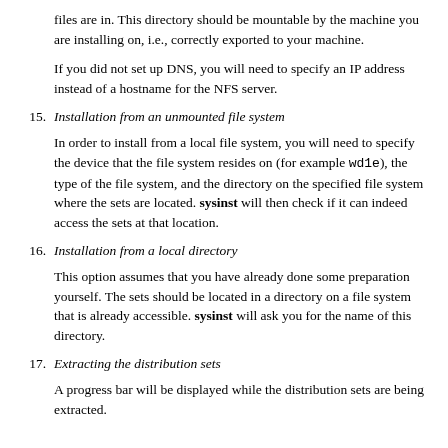files are in. This directory should be mountable by the machine you are installing on, i.e., correctly exported to your machine.
If you did not set up DNS, you will need to specify an IP address instead of a hostname for the NFS server.
15. Installation from an unmounted file system
In order to install from a local file system, you will need to specify the device that the file system resides on (for example wd1e), the type of the file system, and the directory on the specified file system where the sets are located. sysinst will then check if it can indeed access the sets at that location.
16. Installation from a local directory
This option assumes that you have already done some preparation yourself. The sets should be located in a directory on a file system that is already accessible. sysinst will ask you for the name of this directory.
17. Extracting the distribution sets
A progress bar will be displayed while the distribution sets are being extracted.